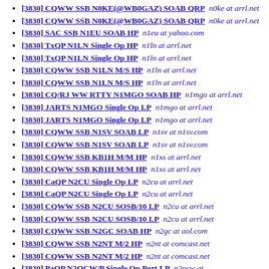[3830] CQWW SSB N0KE(@WB0GAZ) SOAB QRP  n0ke at arrl.net
[3830] CQWW SSB N0KE(@WB0GAZ) SOAB QRP  n0ke at arrl.net
[3830] SAC SSB N1EU SOAB HP  n1eu at yahoo.com
[3830] TxQP N1LN Single Op HP  n1ln at arrl.net
[3830] TxQP N1LN Single Op HP  n1ln at arrl.net
[3830] CQWW SSB N1LN M/S HP  n1ln at arrl.net
[3830] CQWW SSB N1LN M/S HP  n1ln at arrl.net
[3830] CQ/RJ WW RTTY N1MGO SOAB HP  n1mgo at arrl.net
[3830] JARTS N1MGO Single Op LP  n1mgo at arrl.net
[3830] JARTS N1MGO Single Op LP  n1mgo at arrl.net
[3830] CQWW SSB N1SV SOAB LP  n1sv at n1sv.com
[3830] CQWW SSB N1SV SOAB LP  n1sv at n1sv.com
[3830] CQWW SSB KB1H M/M HP  n1xs at arrl.net
[3830] CQWW SSB KB1H M/M HP  n1xs at arrl.net
[3830] CaQP N2CU Single Op LP  n2cu at arrl.net
[3830] CaQP N2CU Single Op LP  n2cu at arrl.net
[3830] CQWW SSB N2CU SOSB/10 LP  n2cu at arrl.net
[3830] CQWW SSB N2CU SOSB/10 LP  n2cu at arrl.net
[3830] CQWW SSB N2GC SOAB HP  n2gc at aol.com
[3830] CQWW SSB N2NT M/2 HP  n2nt at comcast.net
[3830] CQWW SSB N2NT M/2 HP  n2nt at comcast.net
[3830] PaQP N2OCW/P Single Op Port LP  n2ocw at arrl.net